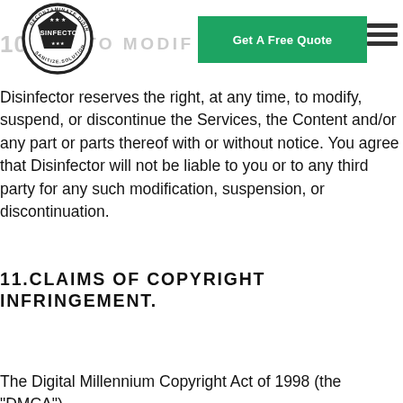[Figure (logo): Disinfector logo — circular badge with stars, text DECONTAMINATE DISINFECT SANITIZE SOLUTION and DISINFECTOR in bold on shield/pentagon shape]
Disinfector reserves the right, at any time, to modify, suspend, or discontinue the Services, the Content and/or any part or parts thereof with or without notice. You agree that Disinfector will not be liable to you or to any third party for any such modification, suspension, or discontinuation.
11.CLAIMS OF COPYRIGHT INFRINGEMENT.
The Digital Millennium Copyright Act of 1998 (the "DMCA")